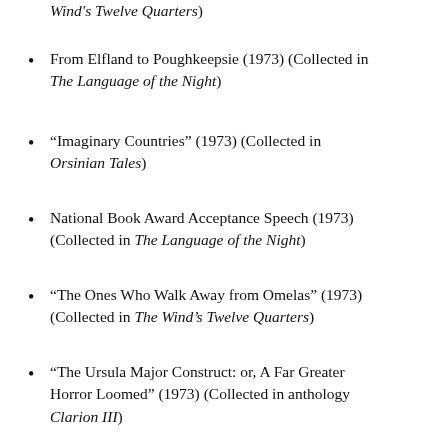Wind's Twelve Quarters)
From Elfland to Poughkeepsie (1973) (Collected in The Language of the Night)
“Imaginary Countries” (1973) (Collected in Orsinian Tales)
National Book Award Acceptance Speech (1973) (Collected in The Language of the Night)
“The Ones Who Walk Away from Omelas” (1973) (Collected in The Wind’s Twelve Quarters)
“The Ursula Major Construct: or, A Far Greater Horror Loomed” (1973) (Collected in anthology Clarion III)
“The Author of the Acacia Seeds and Other Extracts from the Journal of the Association of Therolinguistics” (1974) (Collected in The